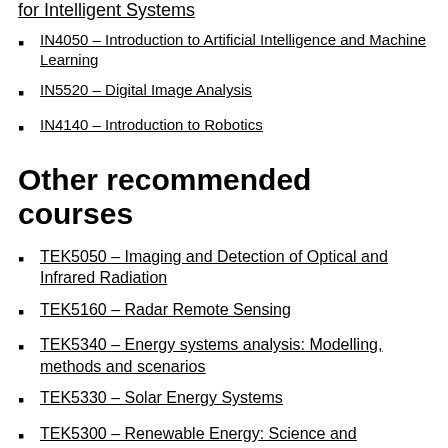IN4050 – Introduction to Artificial Intelligence and Machine Learning
IN5520 – Digital Image Analysis
IN4140 – Introduction to Robotics
Other recommended courses
TEK5050 – Imaging and Detection of Optical and Infrared Radiation
TEK5160 – Radar Remote Sensing
TEK5340 – Energy systems analysis: Modelling, methods and scenarios
TEK5330 – Solar Energy Systems
TEK5300 – Renewable Energy: Science and